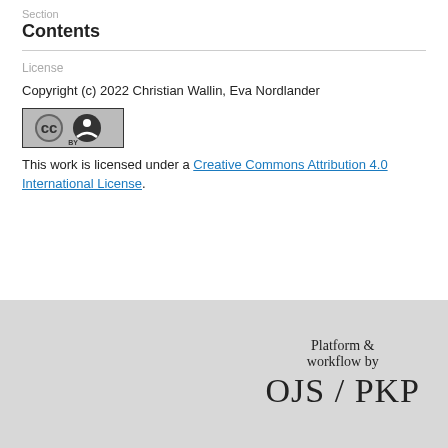Section
Contents
License
Copyright (c) 2022 Christian Wallin, Eva Nordlander
[Figure (logo): Creative Commons CC BY license badge]
This work is licensed under a Creative Commons Attribution 4.0 International License.
Platform & workflow by OJS / PKP